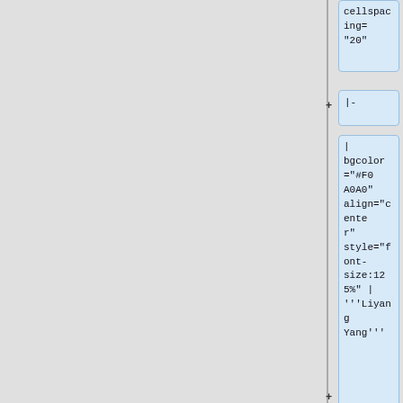cellspacing="20"
|-
| bgcolor="#F0A0A0" align="center" style="font-size:125%" | '''Liyang Yang'''
|-
| bgcolor="#BCD2EE" align="center" | Holomorphic